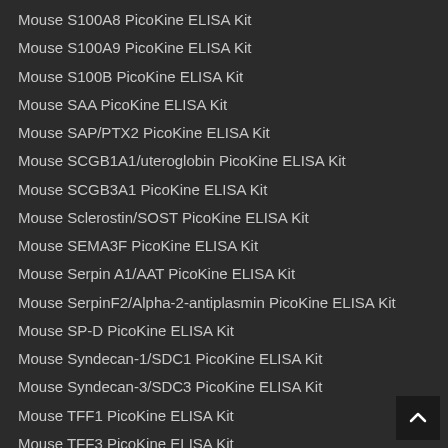Mouse S100A8 PicoKine ELISA Kit
Mouse S100A9 PicoKine ELISA Kit
Mouse S100B PicoKine ELISA Kit
Mouse SAA PicoKine ELISA Kit
Mouse SAP/PTX2 PicoKine ELISA Kit
Mouse SCGB1A1/uteroglobin PicoKine ELISA Kit
Mouse SCGB3A1 PicoKine ELISA Kit
Mouse Sclerostin/SOST PicoKine ELISA Kit
Mouse SEMA3F PicoKine ELISA Kit
Mouse Serpin A1/AAT PicoKine ELISA Kit
Mouse SerpinF2/Alpha-2-antiplasmin PicoKine ELISA Kit
Mouse SP-D PicoKine ELISA Kit
Mouse Syndecan-1/SDC1 PicoKine ELISA Kit
Mouse Syndecan-3/SDC3 PicoKine ELISA Kit
Mouse TFF1 PicoKine ELISA Kit
Mouse TFF3 PicoKine ELISA Kit
Mouse TFPI PicoKine ELISA Kit
Mouse TGF-beta 3 PicoKine ELISA Kit